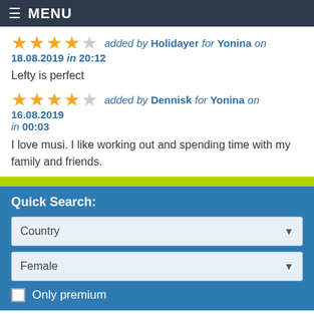MENU
★★★★☆ added by Holidayer for Yonina on 18.08.2019 in 20:12
Lefty is perfect
★★★★☆ added by Dennisk for Yonina on 16.08.2019 in 00:03
I love musi. I like working out and spending time with my family and friends.
Quick Search:
Country
Female
Only premium